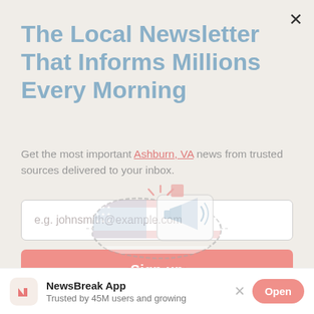The Local Newsletter That Informs Millions Every Morning
Get the most important Ashburn, VA news from trusted sources delivered to your inbox.
[Figure (illustration): Email input field with placeholder text 'e.g. johnsmith@example.com']
Sign up
[Figure (illustration): Illustrated graphic of a US map with a megaphone and flag icons]
South Saint Paul, MN
Manitowoc, WI
NewsBreak App
Trusted by 45M users and growing